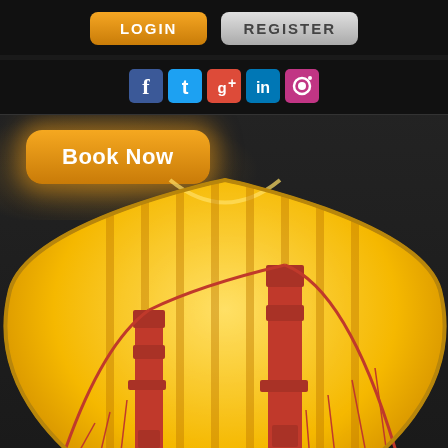[Figure (screenshot): Mobile app screenshot showing LOGIN and REGISTER buttons at top, social media icons (Facebook, Twitter, Google+, LinkedIn, Instagram), a Book Now button with orange glow, and a large golden shield logo featuring a red Golden Gate Bridge illustration]
LOGIN
REGISTER
[Figure (logo): Social media icons: Facebook, Twitter, Google+, LinkedIn, Instagram]
Book Now
[Figure (logo): Golden shield emblem with red Golden Gate Bridge illustration on yellow/gold background]